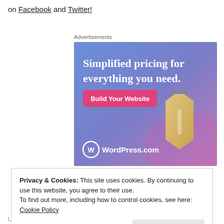on Facebook and Twitter!
Advertisements
[Figure (illustration): WordPress.com advertisement banner with gradient blue-to-purple background, tag image, text 'Simplified pricing for everything you need.' and a pink 'Build Your Website' button and WordPress.com logo.]
Privacy & Cookies: This site uses cookies. By continuing to use this website, you agree to their use.
To find out more, including how to control cookies, see here: Cookie Policy
Close and accept
LEAVE A COMMENT